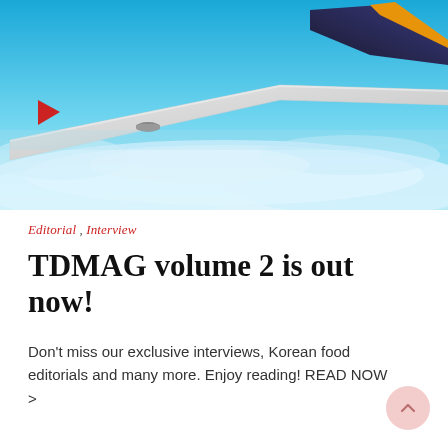[Figure (photo): Aerial view of an airplane wing against a bright blue sky with clouds below. A red triangular logo/icon is visible on the left side of the image.]
Editorial , Interview
TDMAG volume 2 is out now!
Don't miss our exclusive interviews, Korean food editorials and many more. Enjoy reading! READ NOW >